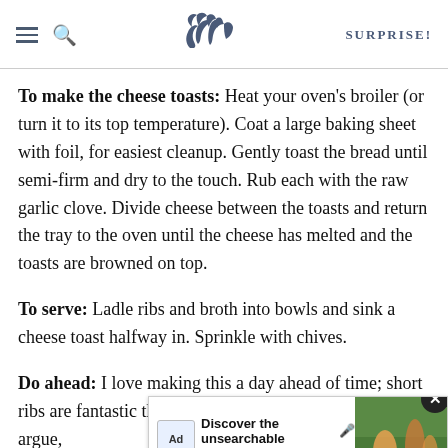SK | SURPRISE!
To make the cheese toasts: Heat your oven's broiler (or turn it to its top temperature). Coat a large baking sheet with foil, for easiest cleanup. Gently toast the bread until semi-firm and dry to the touch. Rub each with the raw garlic clove. Divide cheese between the toasts and return the tray to the oven until the cheese has melted and the toasts are browned on top.
To serve: Ladle ribs and broth into bowls and sink a cheese toast halfway in. Sprinkle with chives.
Do ahead: I love making this a day ahead of time; short ribs are fantastic the second day, even better, you could argue, [ad overlay] er to remove [ad overlay] t the